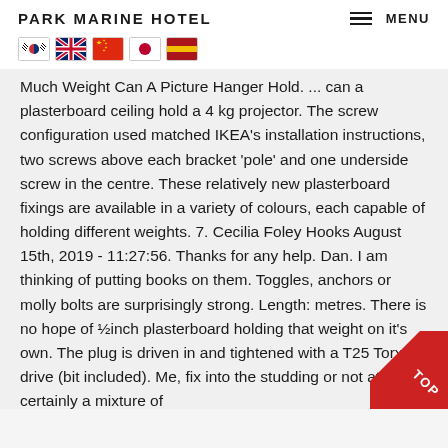PARK MARINE HOTEL    MENU
[Figure (illustration): Row of country flag icons: South Korea, United Kingdom, China, Japan, Spain]
Much Weight Can A Picture Hanger Hold. ... can a plasterboard ceiling hold a 4 kg projector. The screw configuration used matched IKEA's installation instructions, two screws above each bracket 'pole' and one underside screw in the centre. These relatively new plasterboard fixings are available in a variety of colours, each capable of holding different weights. 7. Cecilia Foley Hooks August 15th, 2019 - 11:27:56. Thanks for any help. Dan. I am thinking of putting books on them. Toggles, anchors or molly bolts are surprisingly strong. Length: metres. There is no hope of ½inch plasterboard holding that weight on it's own. The plug is driven in and tightened with a T25 Torx drive (bit included). Me, fix into the studding or not at all or certainly a mixture of